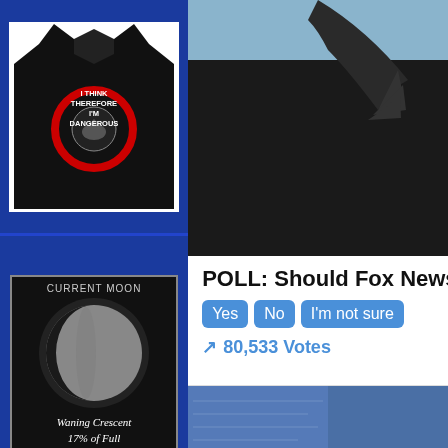[Figure (photo): Black t-shirt with circular badge reading I THINK THEREFORE I'M DANGEROUS with CIA logo]
[Figure (infographic): Current moon phase widget showing Waning Crescent, 17% of Full, Age: 86%, N. Hemisphere, with moon info link]
RUMOR MILL NEWS AGENTS WHO'VE BEEN INTERVIEWED ON RUMOR MILL NEWS RADIO
[Figure (photo): Dark silhouette photo with hand/claw visible against blue background]
POLL: Should Fox News
[Figure (screenshot): Poll with three blue buttons: Yes, No, I'm not sure, showing 80,533 Votes]
[Figure (photo): Photo of a woman with dark hair in front of blue textured background]